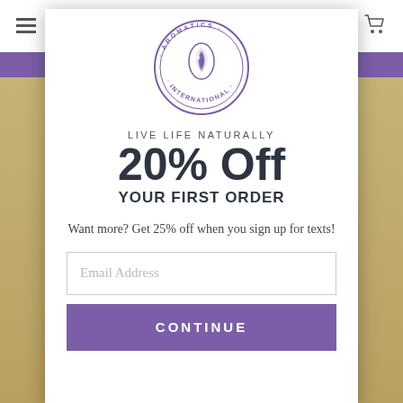[Figure (logo): Aromatics International circular logo with purple leaf/drop emblem and text 'AROMATICS INTERNATIONAL' around the border]
LIVE LIFE NATURALLY
20% Off
YOUR FIRST ORDER
Want more? Get 25% off when you sign up for texts!
Email Address
CONTINUE